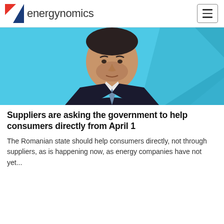energynomics
[Figure (photo): A middle-aged man in a dark suit with a blue tie, photographed from the chest up against a light blue background.]
Suppliers are asking the government to help consumers directly from April 1
The Romanian state should help consumers directly, not through suppliers, as is happening now, as energy companies have not yet...